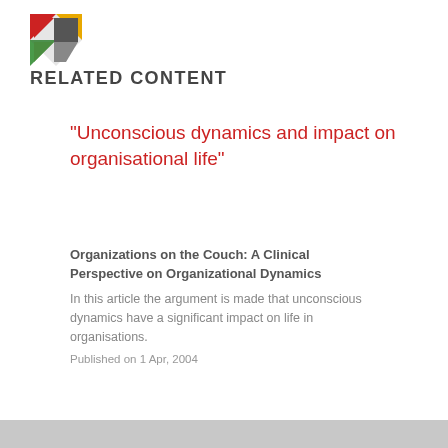[Figure (logo): Colorful geometric logo with red, yellow, green, and dark triangles/shapes forming a K-like mark]
RELATED CONTENT
"Unconscious dynamics and impact on organisational life"
Organizations on the Couch: A Clinical Perspective on Organizational Dynamics
In this article the argument is made that unconscious dynamics have a significant impact on life in organisations.
Published on 1 Apr, 2004